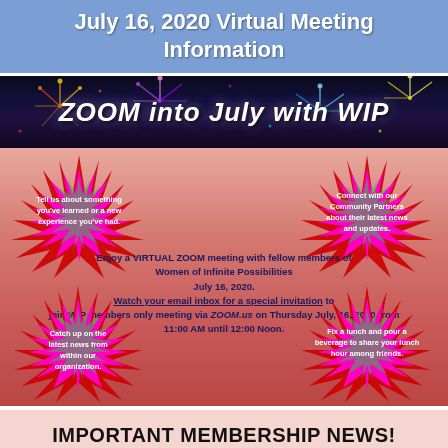July 16, 2020 Virtual Meeting Information
[Figure (illustration): Banner image with fireworks in dark night sky background and bold italic white text reading 'ZOOM into July with WIP']
[Figure (infographic): Pink/red gradient background with four starburst shapes at corners. Top-left starburst (magenta/green/red): 'Tell us about something you've learned or a new experience you've had.' Top-right starburst (magenta/green/red): 'Connect with our Community Partners about their latest news and updates.' Bottom-left starburst: 'Catch up on the latest news from within our organization.' Bottom-right starburst: 'Fix a lunch and pour a beverage to share your lunch hour among friends.' Center text in dark navy: 'Enjoy a VIRTUAL ZOOM meeting with fellow members of Women of Infinite Possibilities July 16, 2020. Watch your email inbox for a special invitation to join WIP members only meeting via ZOOM.us on Thursday July, 16, 2020 from 11:00 AM until 12:00 Noon.']
IMPORTANT MEMBERSHIP NEWS!